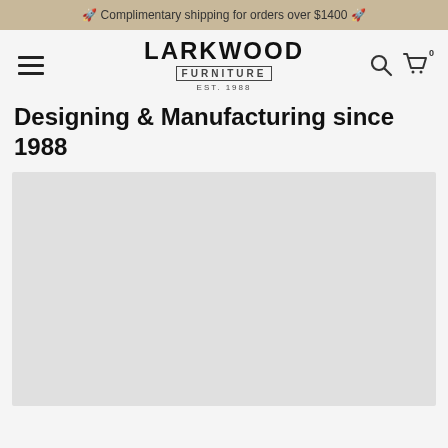🚀 Complimentary shipping for orders over $1400 🚀
[Figure (logo): Larkwood Furniture logo with LARKWOOD in bold, FURNITURE below, EST. 1988 underneath]
Designing & Manufacturing since 1988
[Figure (photo): Large grey placeholder image area for hero/product photo]